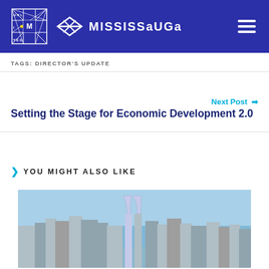Unlimited Mississauga
TAGS: DIRECTOR'S UPDATE
Next Post →
Setting the Stage for Economic Development 2.0
YOU MIGHT ALSO LIKE
[Figure (photo): Mississauga city skyline with modern skyscrapers including distinctive curved towers against a blue sky]